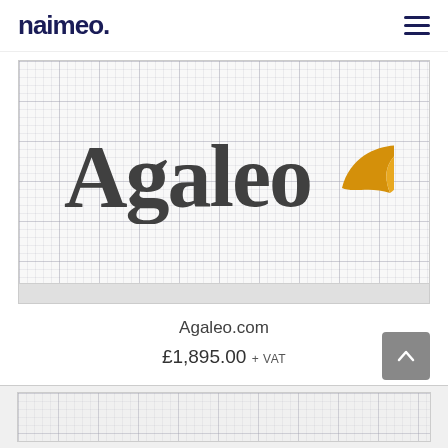naimeo.
[Figure (logo): Agaleo brand logo on a graph-paper grid background. The word 'Agaleo' is displayed in large bold serif font in dark grey, with an orange/golden wing or flame icon to the right of the text.]
Agaleo.com
£1,895.00 + VAT